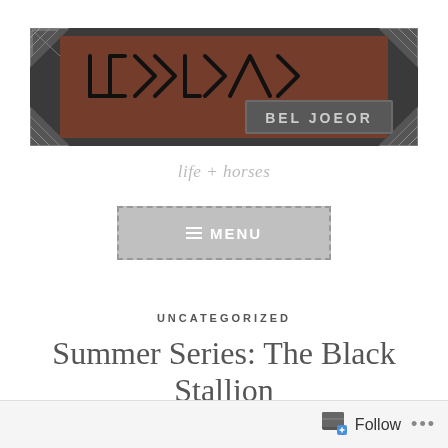[Figure (logo): Bel Joeor blog logo — decorative banner with runic/geometric lettering in dark art-deco style on a brown textured background with geometric corner ornaments and 'BEL JOEOR' text]
life + horses
[Figure (other): Menu navigation button — grey rectangle with dashed border, hamburger icon and MENU text]
UNCATEGORIZED
Summer Series: The Black Stallion Revolts
Follow ...